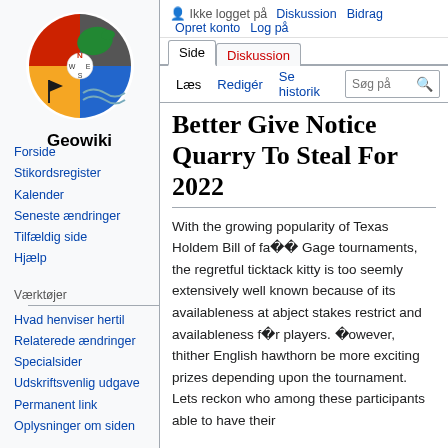[Figure (logo): Geowiki logo: compass rose divided into 4 quadrants (red/orange/black/blue) with Denmark map in green, orienteering flag, and blue water wave. Text 'Geowiki' below.]
Ikke logget på  Diskussion  Bidrag  Opret konto  Log på
Forside
Stikordsregister
Kalender
Seneste ændringer
Tilfældig side
Hjælp
Værktøjer
Hvad henviser hertil
Relaterede ændringer
Specialsider
Udskriftsvenlig udgave
Permanent link
Oplysninger om siden
Better Give Notice Quarry To Steal For 2022
With the growing popularity of Texas Holdem Bill of fa�� Gage tournaments, the regretful ticktack kitty is too seemly extensively well known because of its availableness at abject stakes restrict and availableness f�r players. �owever, thither English hawthorn be more exciting prizes depending upon the tournament. Lets reckon who among these participants able to have their